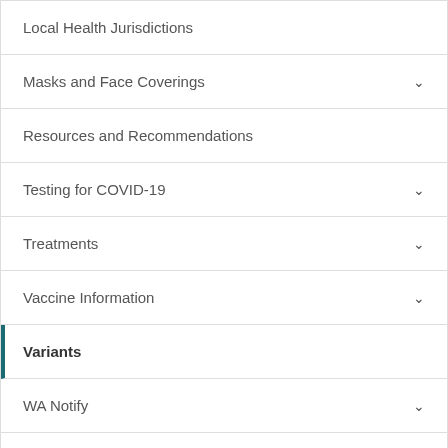Local Health Jurisdictions
Masks and Face Coverings
Resources and Recommendations
Testing for COVID-19
Treatments
Vaccine Information
Variants
WA Notify